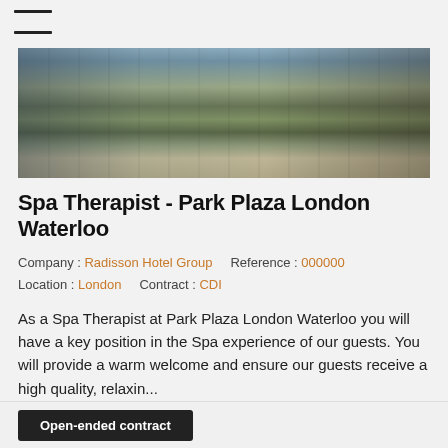☰ (hamburger menu)
[Figure (photo): Exterior photo of Park Plaza London Waterloo hotel, showing modern building facade with glass, stone landscaping, hedges, and plaza area.]
Spa Therapist - Park Plaza London Waterloo
Company : Radisson Hotel Group   Reference : 000000
Location : London   Contract : CDI
As a Spa Therapist at Park Plaza London Waterloo you will have a key position in the Spa experience of our guests. You will provide a warm welcome and ensure our guests receive a high quality, relaxin...
Published on 28 Aug 2018, updated on 28 Aug 2018
Apply
Open-ended contract